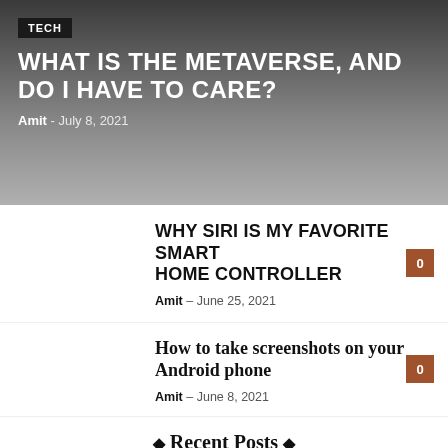TECH
WHAT IS THE METAVERSE, AND DO I HAVE TO CARE?
Amit - July 8, 2021
WHY SIRI IS MY FAVORITE SMART HOME CONTROLLER
Amit – June 25, 2021
How to take screenshots on your Android phone
Amit – June 8, 2021
Recent Posts
Troubleshooting Problems with an inverter pool